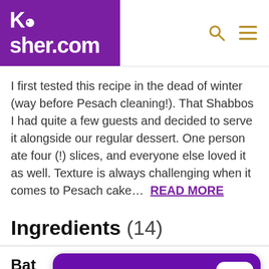Kosher.com
I first tested this recipe in the dead of winter (way before Pesach cleaning!). That Shabbos I had quite a few guests and decided to serve it alongside our regular dessert. One person ate four (!) slices, and everyone else loved it as well. Texture is always challenging when it comes to Pesach cake... READ MORE
Ingredients (14)
Bat
[Figure (screenshot): App promotion banner: ENJOYING KOSHER.COM? VIEW IN APP with Kosher.com app icon]